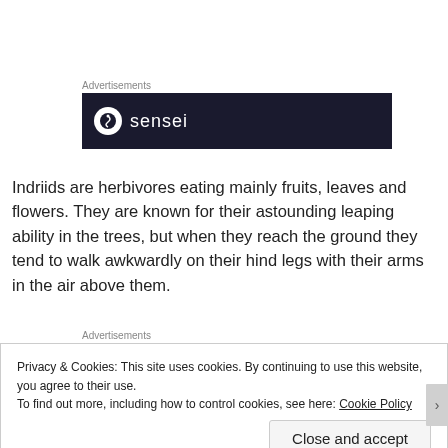Advertisements
[Figure (logo): Dark navy advertisement banner with a white circle logo and 'sensei' text in white]
Indriids are herbivores eating mainly fruits, leaves and flowers. They are known for their astounding leaping ability in the trees, but when they reach the ground they tend to walk awkwardly on their hind legs with their arms in the air above them.
Advertisements
Privacy & Cookies: This site uses cookies. By continuing to use this website, you agree to their use.
To find out more, including how to control cookies, see here: Cookie Policy
Close and accept